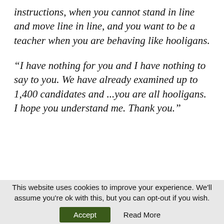instructions, when you cannot stand in line and move line in line, and you want to be a teacher when you are behaving like hooligans.
“I have nothing for you and I have nothing to say to you. We have already examined up to 1,400 candidates and ...you are all hooligans. I hope you understand me. Thank you.”
This website uses cookies to improve your experience. We'll assume you're ok with this, but you can opt-out if you wish. Accept Read More